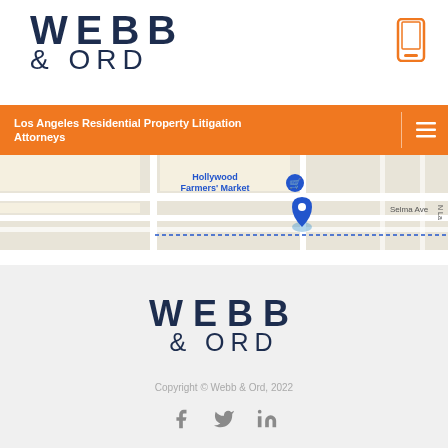[Figure (logo): Webb & Ord law firm logo with bold WEBB text and lighter & ORD text in navy blue]
[Figure (other): Orange mobile phone icon in top right corner]
Los Angeles Residential Property Litigation Attorneys
[Figure (map): Google Maps snippet showing Hollywood Farmers Market area with Selma Ave visible]
[Figure (logo): Webb & Ord law firm logo centered in footer, large navy blue text]
Copyright © Webb & Ord, 2022
[Figure (other): Social media icons: Facebook, Twitter, LinkedIn in gray]